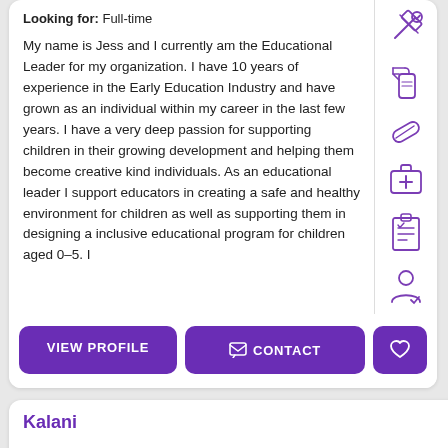Looking for: Full-time
My name is Jess and I currently am the Educational Leader for my organization. I have 10 years of experience in the Early Education Industry and have grown as an individual within my career in the last few years. I have a very deep passion for supporting children in their growing development and helping them become creative kind individuals. As an educational leader I support educators in creating a safe and healthy environment for children as well as supporting them in designing a inclusive educational program for children aged 0–5. I
VIEW PROFILE
CONTACT
Kalani